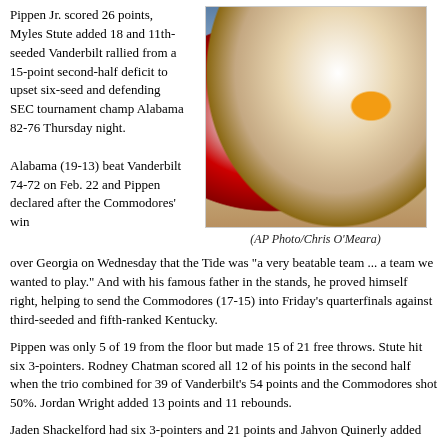Pippen Jr. scored 26 points, Myles Stute added 18 and 11th-seeded Vanderbilt rallied from a 15-point second-half deficit to upset six-seed and defending SEC tournament champ Alabama 82-76 Thursday night.
[Figure (photo): Basketball game action photo showing Vanderbilt player #2 driving past an Alabama defender, AP Photo by Chris O'Meara]
(AP Photo/Chris O'Meara)
Alabama (19-13) beat Vanderbilt 74-72 on Feb. 22 and Pippen declared after the Commodores' win over Georgia on Wednesday that the Tide was "a very beatable team ... a team we wanted to play." And with his famous father in the stands, he proved himself right, helping to send the Commodores (17-15) into Friday's quarterfinals against third-seeded and fifth-ranked Kentucky.
Pippen was only 5 of 19 from the floor but made 15 of 21 free throws. Stute hit six 3-pointers. Rodney Chatman scored all 12 of his points in the second half when the trio combined for 39 of Vanderbilt's 54 points and the Commodores shot 50%. Jordan Wright added 13 points and 11 rebounds.
Jaden Shackelford had six 3-pointers and 21 points and Jahvon Quinerly added